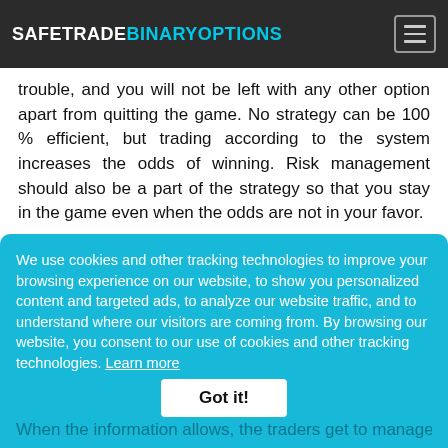SAFETRADEBINARYOPTIONS
trouble, and you will not be left with any other option apart from quitting the game. No strategy can be 100 % efficient, but trading according to the system increases the odds of winning. Risk management should also be a part of the strategy so that you stay in the game even when the odds are not in your favor.
We use cookies and other tracking technologies to improve your browsing experience on our website, to show you personalized content and targeted ads, to analyze our website traffic, and to understand where our visitors are coming from. By browsing our website, you consent to our use of cookies and other tracking technologies. Learn more